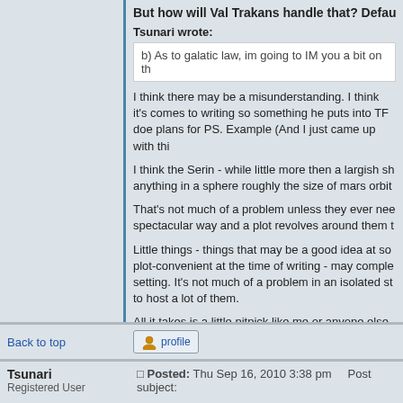But how will Val Trakans handle that? Default is I know he'll do something to actually earn it. If he do
Tsunari wrote:
b) As to galatic law, im going to IM you a bit on th
I think there may be a misunderstanding. I think it's comes to writing so something he puts into TF doe plans for PS. Example (And I just came up with thi
I think the Serin - while little more then a largish sh anything in a sphere roughly the size of mars orbit
That's not much of a problem unless they ever nee spectacular way and a plot revolves around them t
Little things - things that may be a good idea at so plot-convenient at the time of writing - may comple setting. It's not much of a problem in an isolated st to host a lot of them.
All it takes is a little nitpick like me or anyone else abuse the rules to their advantage to point it out. It now to just solve the whole damn problem and pu
Back to top
[Figure (illustration): Profile button with user icon]
Tsunari
Registered User
Posted: Thu Sep 16, 2010 3:38 pm    Post subject: